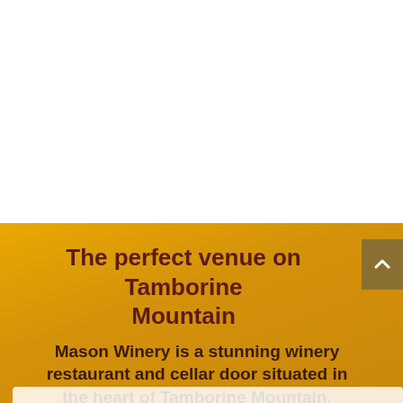[Figure (photo): White/blank upper section of the page, representing a cropped winery photo area]
The perfect venue on Tamborine Mountain
Mason Winery is a stunning winery restaurant and cellar door situated in the heart of Tamborine Mountain.